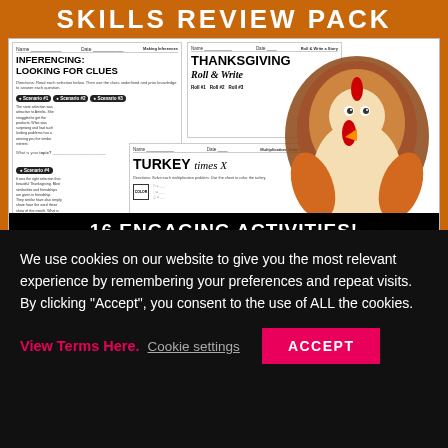[Figure (illustration): Thanksgiving Skills Review Pack promotional image with worksheet previews (Inferencing: Looking for Clues, Thanksgiving Roll & Write, Turkey Times X), a turkey cartoon graphic, and a banner reading '16 ENGAGING ACTIVITIES!'. Created by Kim Miller.]
Thanksgiving Activities Math and Reading Worksheets - Pack Fall...
We use cookies on our website to give you the most relevant experience by remembering your preferences and repeat visits. By clicking “Accept”, you consent to the use of ALL the cookies.
View Terms Here.  Cookie settings  ACCEPT